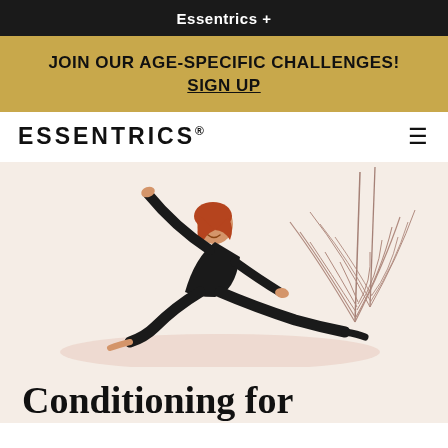Essentrics +
JOIN OUR AGE-SPECIFIC CHALLENGES! SIGN UP
ESSENTRICS®
[Figure (photo): Woman in black athletic wear performing a seated side-stretch yoga/essentrics pose on a light background, with a decorative dried pampas grass plant element in the upper right corner]
Conditioning for